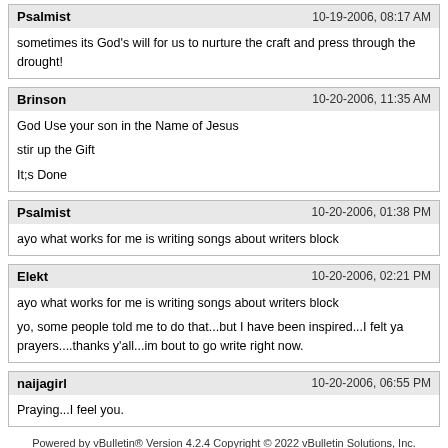Psalmist | 10-19-2006, 08:17 AM | sometimes its God's will for us to nurture the craft and press through the drought!
Brinson | 10-20-2006, 11:35 AM | God Use your son in the Name of Jesus

stir up the Gift

It;s Done
Psalmist | 10-20-2006, 01:38 PM | ayo what works for me is writing songs about writers block
Elekt | 10-20-2006, 02:21 PM | ayo what works for me is writing songs about writers block

yo, some people told me to do that...but I have been inspired...I felt ya prayers....thanks y'all...im bout to go write right now.
naijagirl | 10-20-2006, 06:55 PM | Praying...I feel you.
Powered by vBulletin® Version 4.2.4 Copyright © 2022 vBulletin Solutions, Inc. All rights reserved.